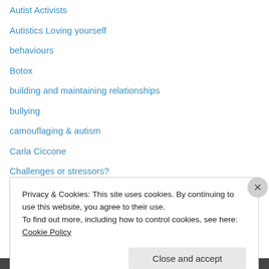Autist Activists
Autistics Loving yourself
behaviours
Botox
building and maintaining relationships
bullying
camouflaging & autism
Carla Ciccone
Challenges or stressors?
child abuse
child predators
conversational anxiety aspergers
coping with school stress
Privacy & Cookies: This site uses cookies. By continuing to use this website, you agree to their use. To find out more, including how to control cookies, see here: Cookie Policy
Close and accept